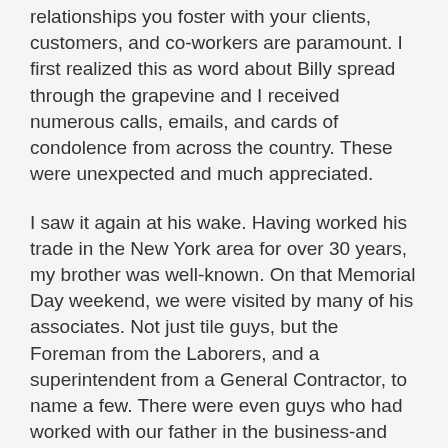relationships you foster with your clients, customers, and co-workers are paramount. I first realized this as word about Billy spread through the grapevine and I received numerous calls, emails, and cards of condolence from across the country. These were unexpected and much appreciated.
I saw it again at his wake. Having worked his trade in the New York area for over 30 years, my brother was well-known. On that Memorial Day weekend, we were visited by many of his associates. Not just tile guys, but the Foreman from the Laborers, and a superintendent from a General Contractor, to name a few. There were even guys who had worked with our father in the business-and some even remembered when I had helped out on a few jobs, way back when! Connections between people-that's what it's about.
Next lesson: how is your health? Construction is hard